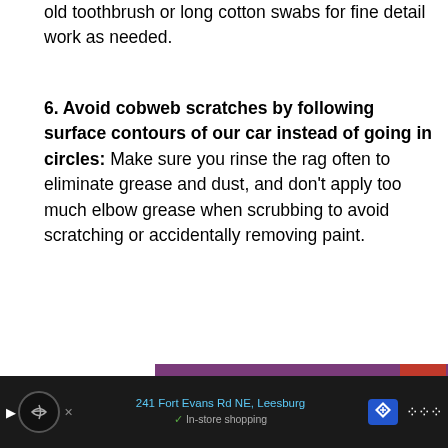old toothbrush or long cotton swabs for fine detail work as needed.
6. Avoid cobweb scratches by following surface contours of our car instead of going in circles: Make sure you rinse the rag often to eliminate grease and dust, and don't apply too much elbow grease when scrubbing to avoid scratching or accidentally removing paint.
[Figure (photo): Advertisement banner with purple background showing text FOSTER ADOPT RESCUE in large white italic bold letters with decorative line elements]
241 Fort Evans Rd NE, Leesburg   In-store shopping